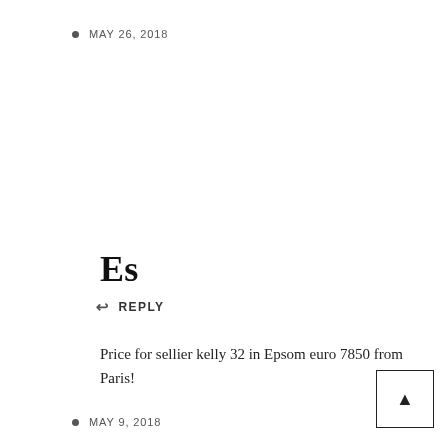MAY 26, 2018
Es
↩ REPLY
Price for sellier kelly 32 in Epsom euro 7850 from Paris!
MAY 9, 2018